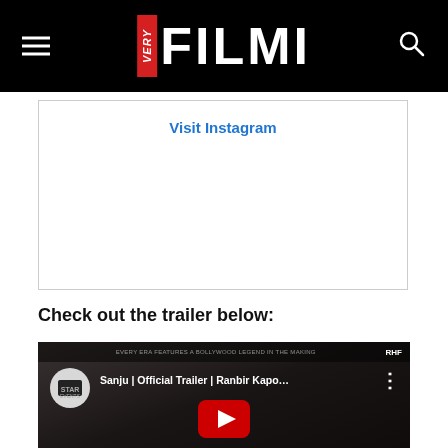VERY FILMI
Visit Instagram
Check out the trailer below:
[Figure (screenshot): YouTube video embed showing Sanju Official Trailer with Ranbir Kapoor, channel icon, video title and play button overlay]